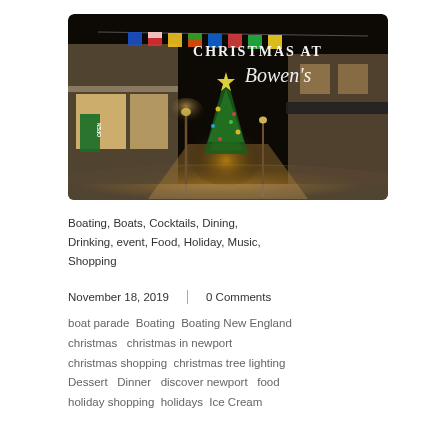[Figure (photo): Night-time photograph of Bowen's Wharf shopping area in Newport, RI decorated for Christmas. There is a lit Christmas tree in the center, colorful signal flags strung above, an 'OPEN' sign on a green banner, warm light on snowy walkway, and text overlay reading 'CHRISTMAS AT Bowen's'.]
Boating, Boats, Cocktails, Dining, Drinking, event, Food, Holiday, Music, Shopping
November 18, 2019  |  0 Comments
boat parade  Boating  Boating New England  christmas  christmas in newport  christmas shopping  christmas tree lighting  Dessert  Dinner  discover newport  food  holiday shopping  holidays  Ice Cream